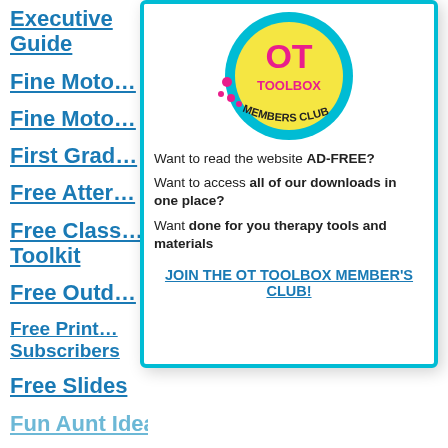Executive Guide
Fine Moto…
Fine Moto…
First Grad…
Free Atter…
Free Class… Toolkit
Free Outd…
Free Print… Subscribers
Free Slides
Fun Aunt Ideas
[Figure (logo): OT Toolbox Members Club circular logo with yellow and cyan design]
Want to read the website AD-FREE?
Want to access all of our downloads in one place?
Want done for you therapy tools and materials
JOIN THE OT TOOLBOX MEMBER'S CLUB!